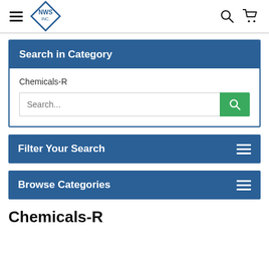NWS Inc. navigation bar with logo, search icon, and cart icon
Search in Category
Chemicals-R
Search...
Filter Your Search
Browse Categories
Chemicals-R